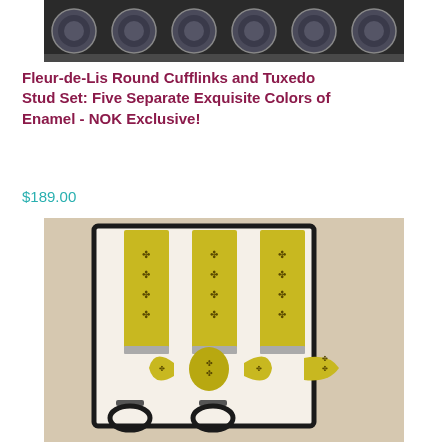[Figure (photo): Top portion of a product photo showing round cufflinks and tuxedo studs arranged in a row against a dark background.]
Fleur-de-Lis Round Cufflinks and Tuxedo Stud Set: Five Separate Exquisite Colors of Enamel - NOK Exclusive!
$189.00
[Figure (photo): Product photo showing yellow/gold Fleur-de-Lis patterned suspenders and matching bow tie displayed in a black-bordered box on a light background.]